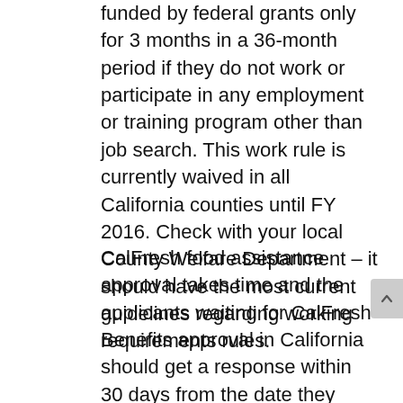funded by federal grants only for 3 months in a 36-month period if they do not work or participate in any employment or training program other than job search. This work rule is currently waived in all California counties until FY 2016. Check with your local County Welfare Department – it should have the most current guidelines regarding working requirements rules.
CalFresh food assistance approval takes time and the applicants waiting for CalFresh Benefits approval in California should get a response within 30 days from the date they submitted their application to the local County Welfare